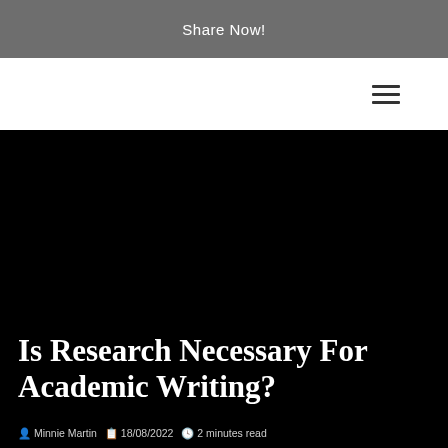Share Now!
[Figure (screenshot): Navigation bar with hamburger menu icon on the right side]
Is Research Necessary For Academic Writing?
Minnie Martin   18/08/2022   2 minutes read